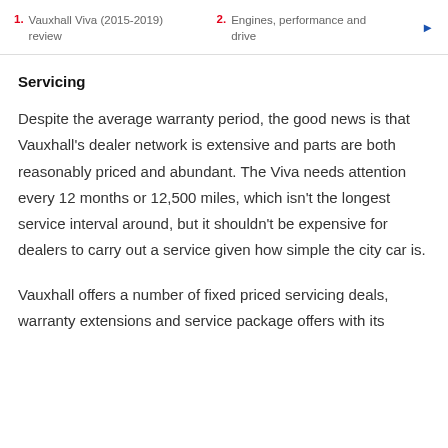1. Vauxhall Viva (2015-2019) review   2. Engines, performance and drive
Servicing
Despite the average warranty period, the good news is that Vauxhall's dealer network is extensive and parts are both reasonably priced and abundant. The Viva needs attention every 12 months or 12,500 miles, which isn't the longest service interval around, but it shouldn't be expensive for dealers to carry out a service given how simple the city car is.
Vauxhall offers a number of fixed priced servicing deals, warranty extensions and service package offers with its